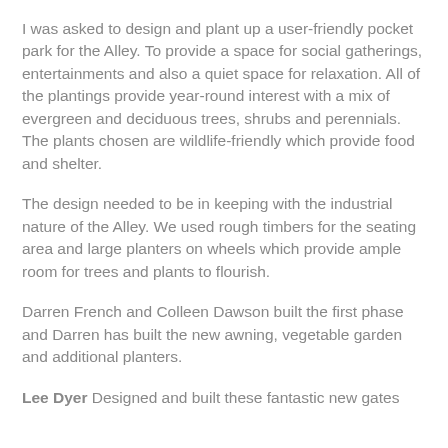I was asked to design and plant up a user-friendly pocket park for the Alley. To provide a space for social gatherings, entertainments and also a quiet space for relaxation. All of the plantings provide year-round interest with a mix of evergreen and deciduous trees, shrubs and perennials. The plants chosen are wildlife-friendly which provide food and shelter.
The design needed to be in keeping with the industrial nature of the Alley. We used rough timbers for the seating area and large planters on wheels which provide ample room for trees and plants to flourish.
Darren French and Colleen Dawson built the first phase and Darren has built the new awning, vegetable garden and additional planters.
Lee Dyer Designed and built these fantastic new gates